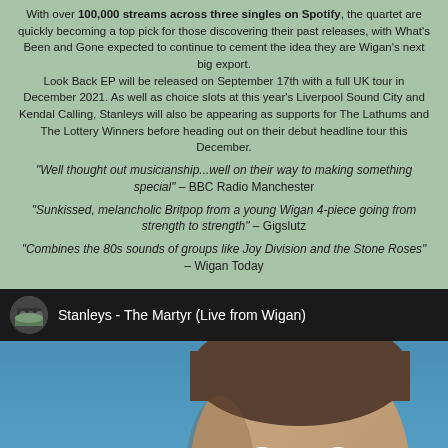With over 100,000 streams across three singles on Spotify, the quartet are quickly becoming a top pick for those discovering their past releases, with What's Been and Gone expected to continue to cement the idea they are Wigan's next big export. Look Back EP will be released on September 17th with a full UK tour in December 2021. As well as choice slots at this year's Liverpool Sound City and Kendal Calling, Stanleys will also be appearing as supports for The Lathums and The Lottery Winners before heading out on their debut headline tour this December.
“Well thought out musicianship...well on their way to making something special” – BBC Radio Manchester
“Sunkissed, melancholic Britpop from a young Wigan 4-piece going from strength to strength” – Gigslutz
“Combines the 80s sounds of groups like Joy Division and the Stone Roses” – Wigan Today
[Figure (screenshot): YouTube video thumbnail for 'Stanleys - The Martyr (Live from Wigan)' showing a young man's face against a blue background with a red YouTube play button overlay. The video bar shows the channel avatar (band photo) and video title on a dark background.]